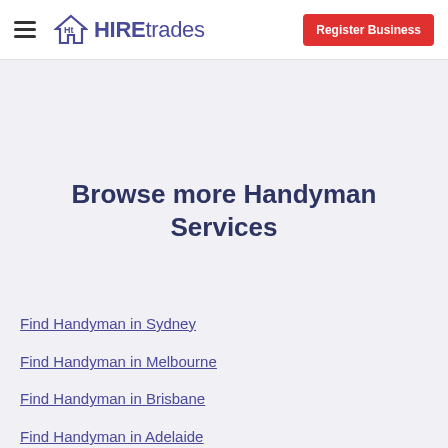HIREtrades — Register Business
Browse more Handyman Services
Find Handyman in Sydney
Find Handyman in Melbourne
Find Handyman in Brisbane
Find Handyman in Adelaide